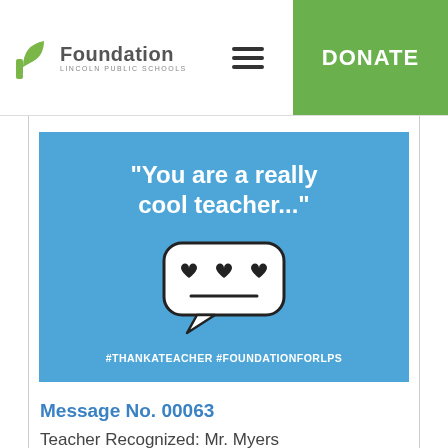[Figure (logo): Foundation Lincoln Public Schools logo with stylized leaf/hand icon]
[Figure (other): Hamburger menu icon (three horizontal lines)]
DONATE
[Figure (infographic): Blue card with quote 'You are a really cool teacher...' and a speech bubble with heart eyes emoji, hashtags #THANKATEACHER #FOUNDATIONFORLPS]
Message No. 00063
Teacher Recognized: Mr. Myers